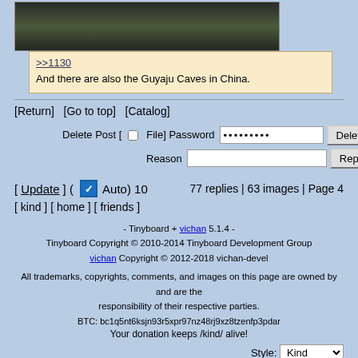[Figure (photo): Partial view of a dark rocky cave or mountain surface, cut off at top]
>>1130
And there are also the Guyaju Caves in China.
[Return]  [Go to top]  [Catalog]
Delete Post [ ] File] Password ••••••••• Delete
Reason  Report
[Update] ( ☑ Auto) 10     77 replies | 63 images | Page 4
[ kind ] [ home ] [ friends ]
- Tinyboard + vichan 5.1.4 -
Tinyboard Copyright © 2010-2014 Tinyboard Development Group
vichan Copyright © 2012-2018 vichan-devel
All trademarks, copyrights, comments, and images on this page are owned by and are the responsibility of their respective parties.
BTC: bc1q5nt6ksjn93r5xpr97nz48rj9xz8tzenfp3pdar
Your donation keeps /kind/ alive!
Style: Kind ▼